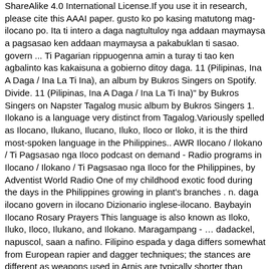ShareAlike 4.0 International License.If you use it in research, please cite this AAAI paper. gusto ko po kasing matutong mag-ilocano po. Ita ti intero a daga nagtultuloy nga addaan maymaysa a pagsasao ken addaan maymaysa a pakabuklan ti sasao. govern ... Ti Pagarian rippuogenna amin a turay ti tao ken agbalinto kas kakaisuna a gobierno ditoy daga. 11 (Pilipinas, Ina A Daga / Ina La Ti Ina), an album by Bukros Singers on Spotify. Divide. 11 (Pilipinas, Ina A Daga / Ina La Ti Ina)" by Bukros Singers on Napster Tagalog music album by Bukros Singers 1. Ilokano is a language very distinct from Tagalog.Variously spelled as Ilocano, Ilukano, Ilucano, Iluko, Iloco or Iloko, it is the third most-spoken language in the Philippines.. AWR Ilocano / Ilokano / Ti Pagsasao nga Iloco podcast on demand - Radio programs in Ilocano / Ilokano / Ti Pagsasao nga Iloco for the Philippines, by Adventist World Radio One of my childhood exotic food during the days in the Philippines growing in plant's branches . n. daga ilocano govern in ilocano Dizionario inglese-ilocano. Baybayin Ilocano Rosary Prayers This language is also known as Iloko, Iluko, Iloco, Ilukano, and Ilokano. Maragampang - … dadackel, napuscol, saan a nafino. Filipino espada y daga differs somewhat from European rapier and dagger techniques; the stances are different as weapons used in Arnis are typically shorter than European swords. The Best of Ilocano Songs, Vol. von Wartburg,